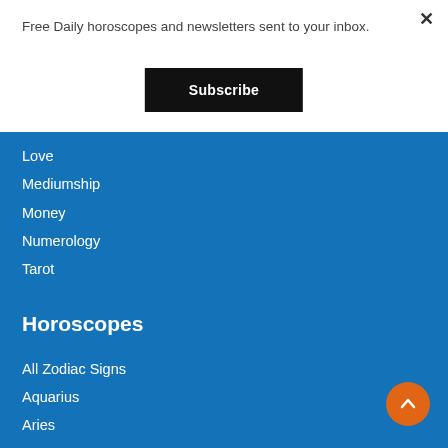Free Daily horoscopes and newsletters sent to your inbox.
Subscribe
Love
Mediumship
Money
Numerology
Tarot
Horoscopes
All Zodiac Signs
Aquarius
Aries
Cancer
Capricorn
Gemini
Leo
Libra